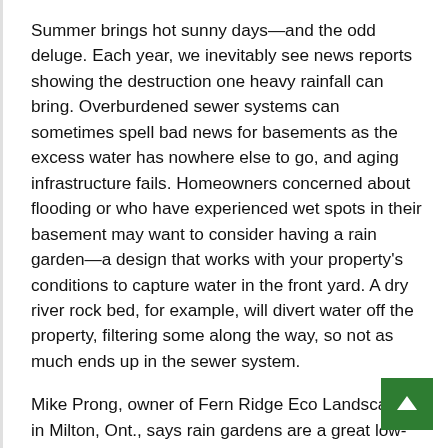Summer brings hot sunny days—and the odd deluge. Each year, we inevitably see news reports showing the destruction one heavy rainfall can bring. Overburdened sewer systems can sometimes spell bad news for basements as the excess water has nowhere else to go, and aging infrastructure fails. Homeowners concerned about flooding or who have experienced wet spots in their basement may want to consider having a rain garden—a design that works with your property's conditions to capture water in the front yard. A dry river rock bed, for example, will divert water off the property, filtering some along the way, so not as much ends up in the sewer system.
Mike Prong, owner of Fern Ridge Eco Landscaping in Milton, Ont., says rain gardens are a great low-maintenance option that allow you to see where the water is moving. Prong recommends consulting a